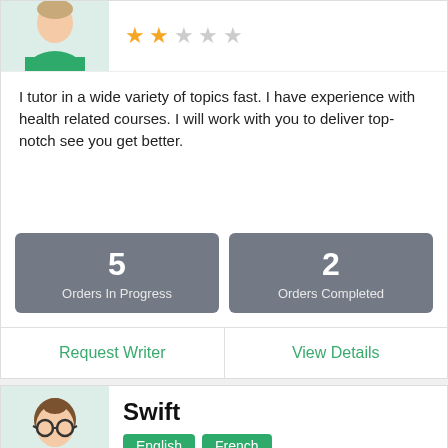[Figure (illustration): Generic avatar icon with green shirt, top portion visible]
2 out of 5 stars rating
I tutor in a wide variety of topics fast. I have experience with health related courses. I will work with you to deliver top-notch see you get better.
5 Orders In Progress
2 Orders Completed
Request Writer
View Details
[Figure (illustration): Avatar with glasses and brown hair, green shirt]
Swift
English  French
Not rated yet
text